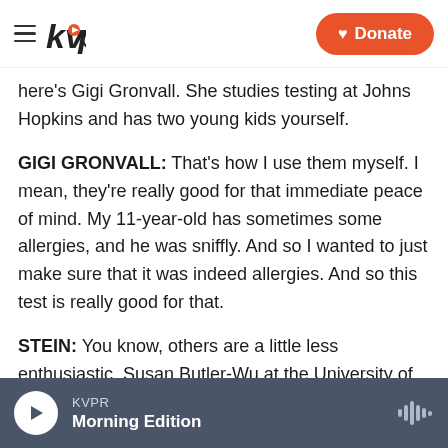kvpr | Donate
here's Gigi Gronvall. She studies testing at Johns Hopkins and has two young kids yourself.
GIGI GRONVALL: That's how I use them myself. I mean, they're really good for that immediate peace of mind. My 11-year-old has sometimes some allergies, and he was sniffly. And so I wanted to just make sure that it was indeed allergies. And so this test is really good for that.
STEIN: You know, others are a little less enthusiastic. Susan Butler-Wu at the University of Southern California - she gives her kids an antigen test...
KVPR — Morning Edition